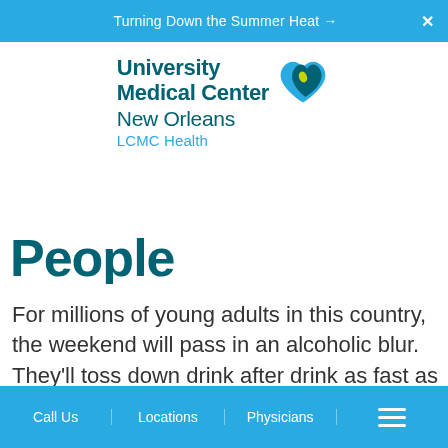Turning Down the Summer Heat →  ✕
[Figure (logo): University Medical Center New Orleans LCMC Health logo with teal and cyan heart/leaf icon]
People
For millions of young adults in this country, the weekend will pass in an alcoholic blur. They'll toss down drink after drink as fast as they can. Then they'll throw up, pass out, revive themselves—and reach for
Call Us  |  Locations  |  Physicians  |  ☰